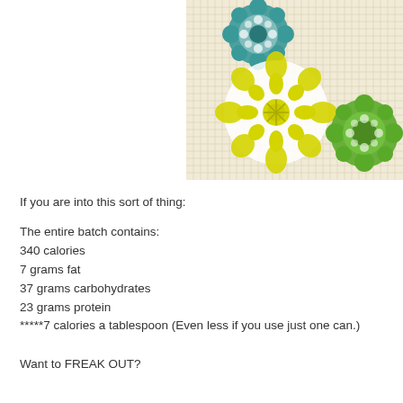[Figure (illustration): Decorative mandala/snowflake patterns on a graph paper background. Three floral mandala designs: one teal/dark green at top center, one large yellow in the middle, and one green on the right side.]
If you are into this sort of thing:
The entire batch contains:
340 calories
7 grams fat
37 grams carbohydrates
23 grams protein
*****7 calories a tablespoon (Even less if you use just one can.)
Want to FREAK OUT?